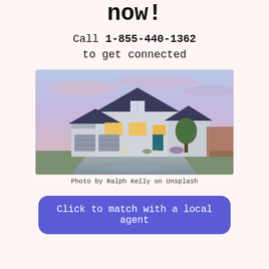now!
Call 1-855-440-1362 to get connected
[Figure (photo): A suburban two-story house with dark roof, white siding, two-car garage, glowing windows at dusk with purple-pink sky]
Photo by Ralph Kelly on Unsplash
Click to match with a local agent